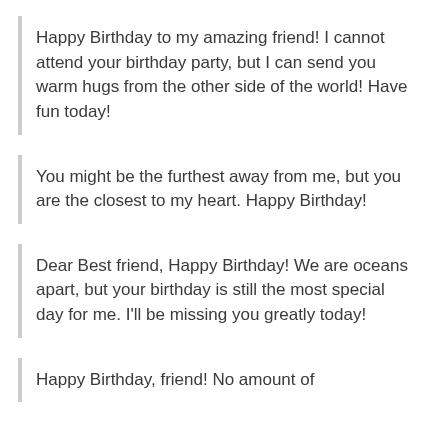Happy Birthday to my amazing friend! I cannot attend your birthday party, but I can send you warm hugs from the other side of the world! Have fun today!
You might be the furthest away from me, but you are the closest to my heart. Happy Birthday!
Dear Best friend, Happy Birthday! We are oceans apart, but your birthday is still the most special day for me. I'll be missing you greatly today!
Happy Birthday, friend! No amount of